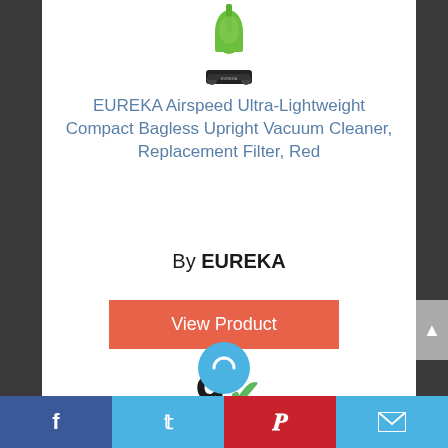[Figure (photo): EUREKA vacuum cleaner product image — green and black upright bagless vacuum cleaner shown partially at top of card]
EUREKA Airspeed Ultra-Lightweight Compact Bagless Upright Vacuum Cleaner, Replacement Filter, Red
By EUREKA
View Product
9 ✓ Score
Facebook  Twitter  Pinterest  Email